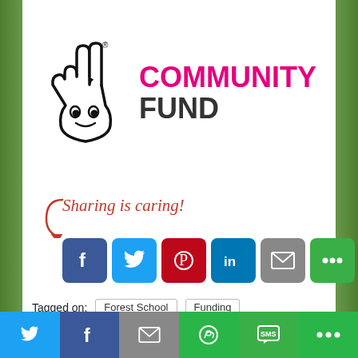[Figure (logo): National Lottery Community Fund logo with hand fingers crossed and magenta COMMUNITY FUND text]
Sharing is caring!
[Figure (infographic): Social sharing buttons: Facebook, Twitter, Pinterest, LinkedIn, Email, More]
Tagged on: Forest School  Funding
Angie  28th August 2019  Hedge News
[Figure (infographic): Bottom share bar with Twitter, Facebook, Email, WhatsApp, SMS, More buttons]